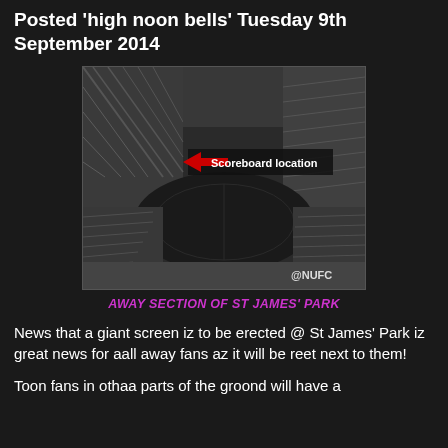Posted 'high noon bells' Tuesday 9th September 2014
[Figure (photo): Black and white aerial photo of St James' Park stadium interior showing stands and pitch from above, with a red arrow pointing left labeled 'Scoreboard location' and '@NUFC' watermark in bottom right corner.]
AWAY SECTION OF ST JAMES' PARK
News that a giant screen iz to be erected @ St James' Park iz great news for aall away fans az it will be reet next to them!
Toon fans in othaa parts of the groond will have a